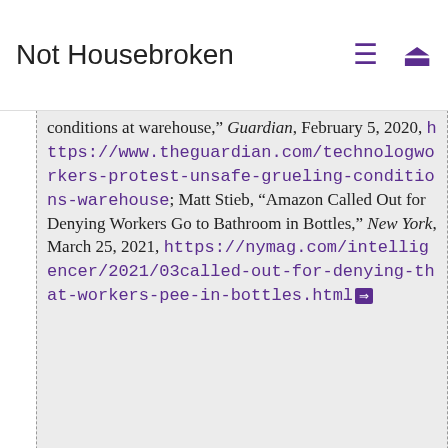Not Housebroken
[23] conditions at warehouse," Guardian, February 5, 2020, https://www.theguardian.com/technology/workers-protest-unsafe-grueling-conditions-warehouse; Matt Stieb, "Amazon Called Out for Denying Workers Go to Bathroom in Bottles," New York, March 25, 2021, https://nymag.com/intelligencer/2021/03/called-out-for-denying-that-workers-pee-in-bottles.html
[24] David Benfell, "About that alleged 'labor shortage,'" Not Housebroken, May 12, 2021, https://disunitedstates.org/2021/05/09/about-that-alleged-labor-